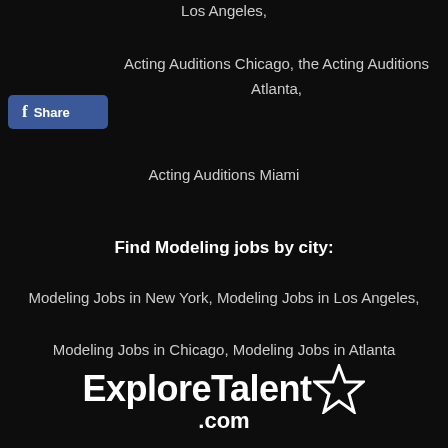Los Angeles,
Acting Auditions Chicago, the Acting Auditions Atlanta,
[Figure (screenshot): Facebook Share button with 'f' icon and 'Share' text on blue background]
Acting Auditions Miami
Find Modeling jobs by city:
Modeling Jobs in New York, Modeling Jobs in Los Angeles,
Modeling Jobs in Chicago, Modeling Jobs in Atlanta
[Figure (logo): ExploreTalent.com logo with star icon in white on dark background]